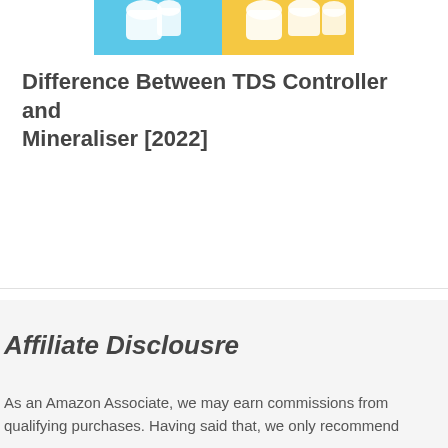[Figure (photo): Product image showing water filter or RO components on blue and yellow background]
Difference Between TDS Controller and Mineraliser [2022]
Affiliate Disclousre
As an Amazon Associate, we may earn commissions from qualifying purchases. Having said that, we only recommend